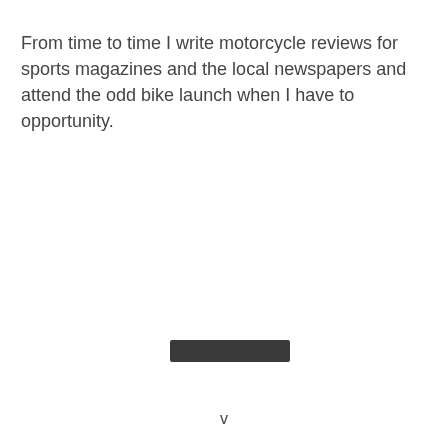From time to time I write motorcycle reviews for sports magazines and the local newspapers and attend the odd bike launch when I have to opportunity.
[Figure (other): A dark rectangular button or bar element positioned in the lower center of the page]
v